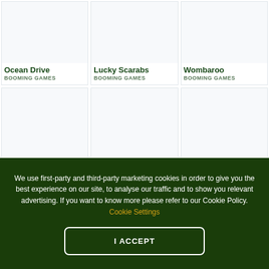[Figure (screenshot): Game card thumbnail for Ocean Drive - empty light grey/blue placeholder image]
Ocean Drive
BOOMING GAMES
[Figure (screenshot): Game card thumbnail for Lucky Scarabs - empty light grey/blue placeholder image]
Lucky Scarabs
BOOMING GAMES
[Figure (screenshot): Game card thumbnail for Wombaroo - empty light grey/blue placeholder image]
Wombaroo
BOOMING GAMES
[Figure (screenshot): Three more game card thumbnails in second row - empty light grey/blue placeholder images with no labels visible]
We use first-party and third-party marketing cookies in order to give you the best experience on our site, to analyse our traffic and to show you relevant advertising. If you want to know more please refer to our Cookie Policy. Cookie Settings
I ACCEPT